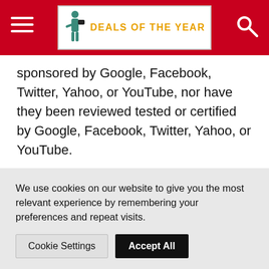DEALS OF THE YEAR
sponsored by Google, Facebook, Twitter, Yahoo, or YouTube, nor have they been reviewed tested or certified by Google, Facebook, Twitter, Yahoo, or YouTube.
© 2016 Easybacklinks | Contact Us| Affiliates
[ad_2]
We use cookies on our website to give you the most relevant experience by remembering your preferences and repeat visits.